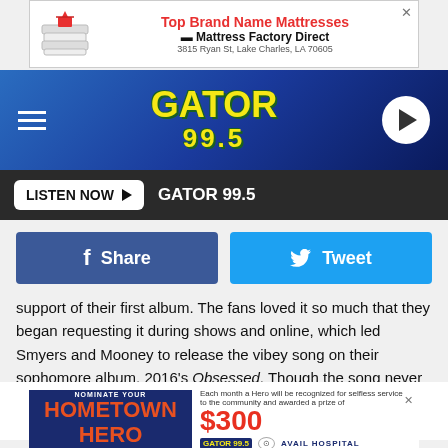[Figure (screenshot): Top advertisement banner for Mattress Factory Direct with red bold title 'Top Brand Name Mattresses' and address '3815 Ryan St, Lake Charles, LA 70605']
[Figure (logo): Gator 99.5 radio station navigation bar with hamburger menu, yellow Gator 99.5 logo on blue gradient background, and white play button]
[Figure (screenshot): Listen Now button bar with white button and GATOR 99.5 station name on dark background]
[Figure (screenshot): Social share buttons: blue Facebook Share button and light blue Twitter Tweet button]
support of their first album. The fans loved it so much that they began requesting it during shows and online, which led Smyers and Mooney to release the vibey song on their sophomore album, 2016's Obsessed. Though the song never became a single, their fans sure do love it!
[Figure (screenshot): Partial Dan + Shay album art showing large bold text 'DAN + SHAY' in dark navy with blue plus sign]
[Figure (screenshot): Bottom advertisement banner for Hometown Hero nomination featuring Gator 99.5, Avail Hospital logos and $300 prize]